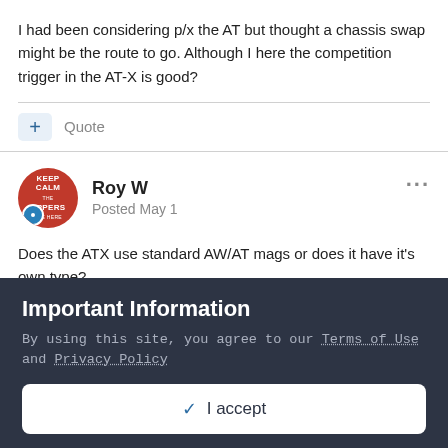I had been considering p/x the AT but thought a chassis swap might be the route to go. Although I here the competition trigger in the AT-X is good?
Quote
Roy W
Posted May 1
Does the ATX use standard AW/AT mags or does it have it's own type?
Important Information
By using this site, you agree to our Terms of Use and Privacy Policy
✓  I accept